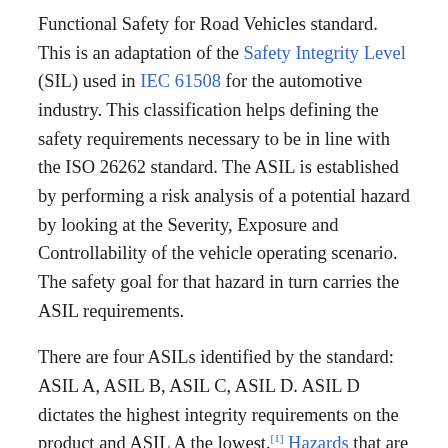Functional Safety for Road Vehicles standard. This is an adaptation of the Safety Integrity Level (SIL) used in IEC 61508 for the automotive industry. This classification helps defining the safety requirements necessary to be in line with the ISO 26262 standard. The ASIL is established by performing a risk analysis of a potential hazard by looking at the Severity, Exposure and Controllability of the vehicle operating scenario. The safety goal for that hazard in turn carries the ASIL requirements.
There are four ASILs identified by the standard: ASIL A, ASIL B, ASIL C, ASIL D. ASIL D dictates the highest integrity requirements on the product and ASIL A the lowest.[1] Hazards that are identified as QM (see below) do not dictate any safety requirements.
Hazard Analysis and Risk